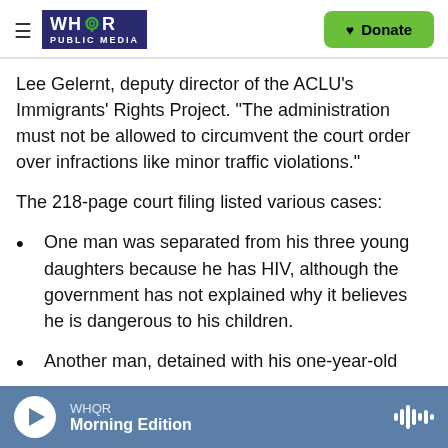WHQR PUBLIC MEDIA | Donate
Lee Gelernt, deputy director of the ACLU's Immigrants' Rights Project. "The administration must not be allowed to circumvent the court order over infractions like minor traffic violations."
The 218-page court filing listed various cases:
One man was separated from his three young daughters because he has HIV, although the government has not explained why it believes he is dangerous to his children.
Another man, detained with his one-year-old
WHQR — Morning Edition